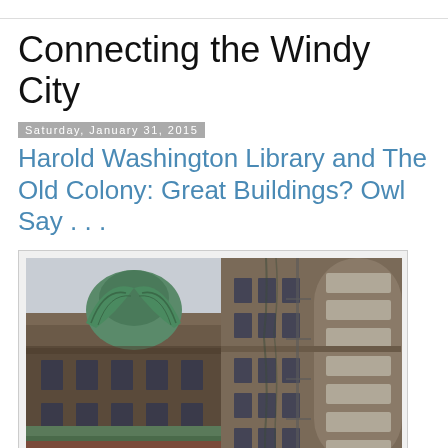Connecting the Windy City
Saturday, January 31, 2015
Harold Washington Library and The Old Colony: Great Buildings? Owl Say . . .
[Figure (photo): Architectural photo showing the top of the Harold Washington Library building with a large decorative bronze owl sculpture on the left, and the rounded bay windows of the Old Colony building on the right, both against a gray sky.]